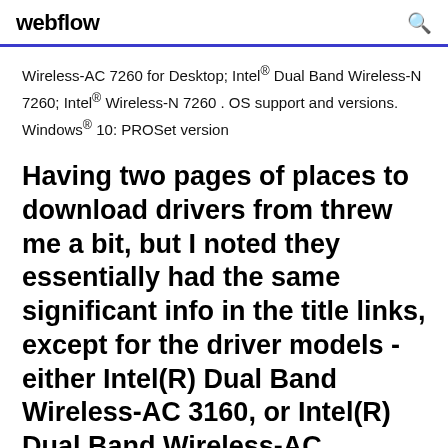webflow
Wireless-AC 7260 for Desktop; Intel® Dual Band Wireless-N 7260; Intel® Wireless-N 7260 . OS support and versions. Windows® 10: PROSet version
Having two pages of places to download drivers from threw me a bit, but I noted they essentially had the same significant info in the title links, except for the driver models - either Intel(R) Dual Band Wireless-AC 3160, or Intel(R) Dual Band Wireless-AC